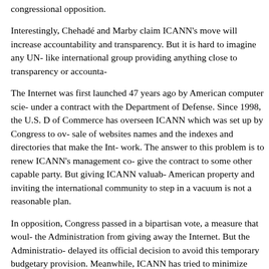congressional opposition.
Interestingly, Chehadé and Marby claim ICANN's move will increase accountability and transparency. But it is hard to imagine any UN- like international group providing anything close to transparency or accounta-
The Internet was first launched 47 years ago by American computer scie- under a contract with the Department of Defense. Since 1998, the U.S. D of Commerce has overseen ICANN which was set up by Congress to ov- sale of websites names and the indexes and directories that make the Int- work. The answer to this problem is to renew ICANN's management co- give the contract to some other capable party. But giving ICANN valuab- American property and inviting the international community to step in a vacuum is not a reasonable plan.
In opposition, Congress passed in a bipartisan vote, a measure that woul- the Administration from giving away the Internet. But the Administratio- delayed its official decision to avoid this temporary budgetary provision. Meanwhile, ICANN has tried to minimize opposition stating that it will any governmental organization from exercising oversight. But this is me- If a Russian, Chinese, North Korean or Iranian citizen is elected to the I- board, does anyone really believe these governments won't exert control citizen's vote?
The Internet has become a major force for free speech and expanding fre-